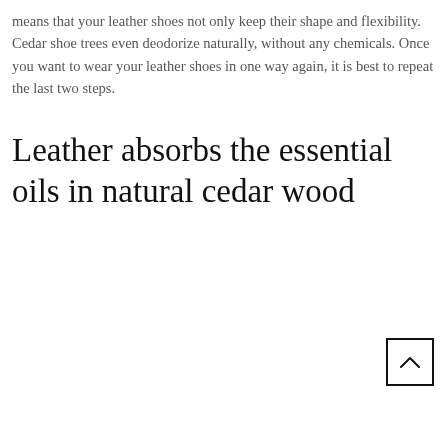means that your leather shoes not only keep their shape and flexibility. Cedar shoe trees even deodorize naturally, without any chemicals. Once you want to wear your leather shoes in one way again, it is best to repeat the last two steps.
Leather absorbs the essential oils in natural cedar wood